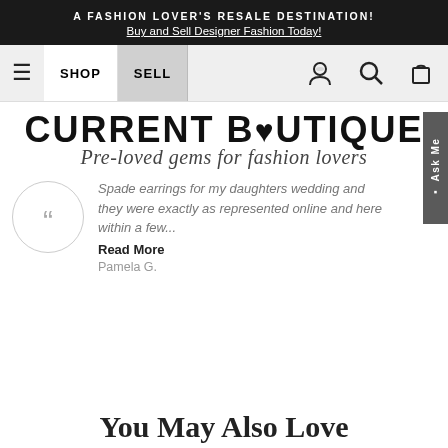A FASHION LOVER'S RESALE DESTINATION! Buy and Sell Designer Fashion Today!
[Figure (screenshot): Navigation bar with hamburger menu, SHOP and SELL buttons, person icon, search icon, and shopping bag icon]
[Figure (logo): Current Boutique logo with text 'CURRENT BOUTIQUE' and heart symbol, subtitle 'Pre-loved gems for fashion lovers' in italic script]
Spade earrings for my daughters wedding and they were exactly as represented online and here within a few... Read More
Pamela G.
You May Also Love